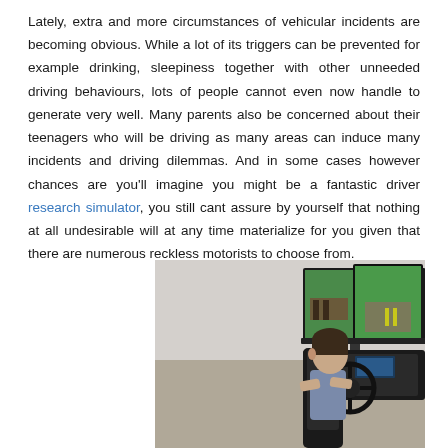Lately, extra and more circumstances of vehicular incidents are becoming obvious. While a lot of its triggers can be prevented for example drinking, sleepiness together with other unneeded driving behaviours, lots of people cannot even now handle to generate very well. Many parents also be concerned about their teenagers who will be driving as many areas can induce many incidents and driving dilemmas. And in some cases however chances are you'll imagine you might be a fantastic driver research simulator, you still cant assure by yourself that nothing at all undesirable will at any time materialize for you given that there are numerous reckless motorists to choose from.
[Figure (photo): A teenager sitting in a driving simulator with a steering wheel and multiple large screens showing a road/driving environment, viewed from behind/side]